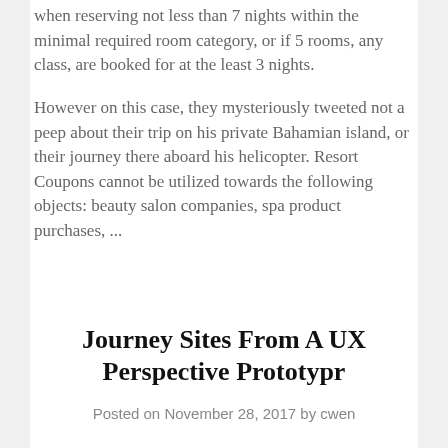when reserving not less than 7 nights within the minimal required room category, or if 5 rooms, any class, are booked for at the least 3 nights.
However on this case, they mysteriously tweeted not a peep about their trip on his private Bahamian island, or their journey there aboard his helicopter. Resort Coupons cannot be utilized towards the following objects: beauty salon companies, spa product purchases, ...
Journey Sites From A UX Perspective Prototypr
Posted on November 28, 2017 by cwen
Discover the most effective deals online for aircraft tickets, hotel rooms, vacation packages and car rentals.